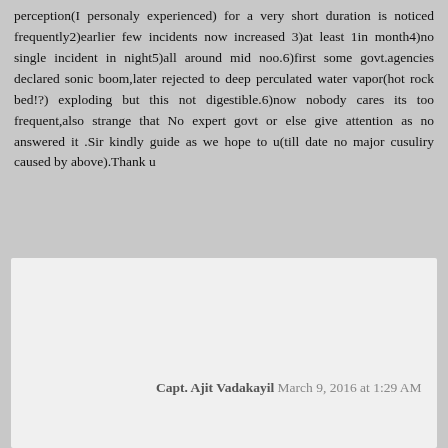perception(I personaly experienced) for a very short duration is noticed frequently2)earlier few incidents now increased 3)at least 1in month4)no single incident in night5)all around mid noo.6)first some govt.agencies declared sonic boom,later rejected to deep perculated water vapor(hot rock bed!?) exploding but this not digestible.6)now nobody cares its too frequent,also strange that No expert govt or else give attention as no answered it .Sir kindly guide as we hope to u(till date no major cusuliry caused by above).Thank u
Capt. Ajit Vadakayil March 9, 2016 at 1:29 AM